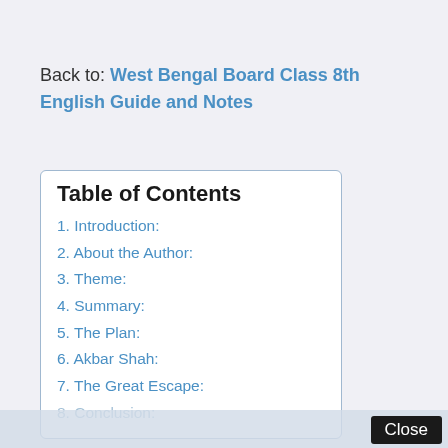Back to: West Bengal Board Class 8th English Guide and Notes
Table of Contents
1. Introduction:
2. About the Author:
3. Theme:
4. Summary:
5. The Plan:
6. Akbar Shah:
7. The Great Escape:
8. Conclusion:
Close